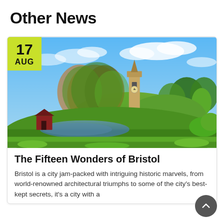Other News
[Figure (photo): A scenic photo of a park in Bristol featuring a stone clock tower on a hill surrounded by autumn trees, with a pond and lush green grass in the foreground under a bright blue sky. A yellow-green date badge overlays the top-left corner showing '17 AUG'.]
The Fifteen Wonders of Bristol
Bristol is a city jam-packed with intriguing historic marvels, from world-renowned architectural triumphs to some of the city's best-kept secrets, it's a city with a